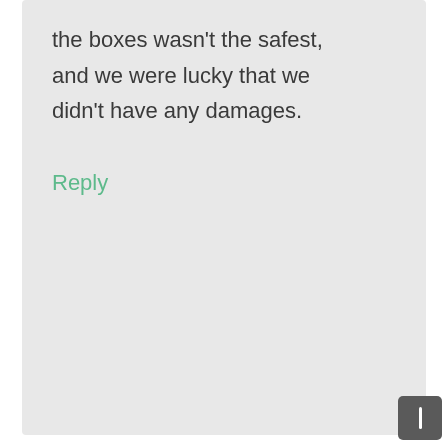the boxes wasn't the safest, and we were lucky that we didn't have any damages.
Reply
Nick Parker
4:05 am on January 9, 2020
Between companies I've worked with through my